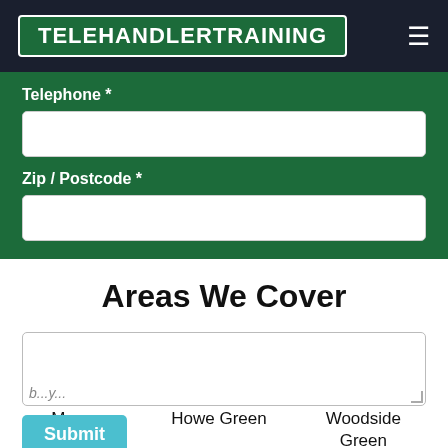TELEHANDLERTRAINING
Telephone *
Zip / Postcode *
Areas We Cover
M...een | Howe Green | Woodside Green
The Ryes | Great Hallingbury | Hallingbury Street